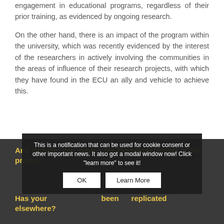engagement in educational programs, regardless of their prior training, as evidenced by ongoing research.
On the other hand, there is an impact of the program within the university, which was recently evidenced by the interest of the researchers in actively involving the communities in the areas of influence of their research projects, with which they have found in the ECU an ally and vehicle to achieve this.
And how did you ensure the long-term impact of the project?
Has your progress been replicated elsewhere?
This is a notification that can be used for cookie consent or other important news. It also got a modal window now! Click "learn more" to see it!